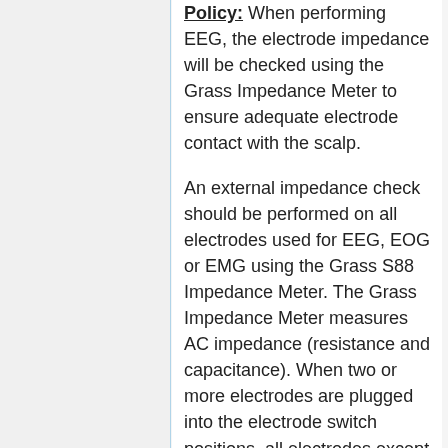Policy: When performing EEG, the electrode impedance will be checked using the Grass Impedance Meter to ensure adequate electrode contact with the scalp.
An external impedance check should be performed on all electrodes used for EEG, EOG or EMG using the Grass S88 Impedance Meter. The Grass Impedance Meter measures AC impedance (resistance and capacitance). When two or more electrodes are plugged into the electrode switch positions, all electrodes except the one selected electrode being measured are